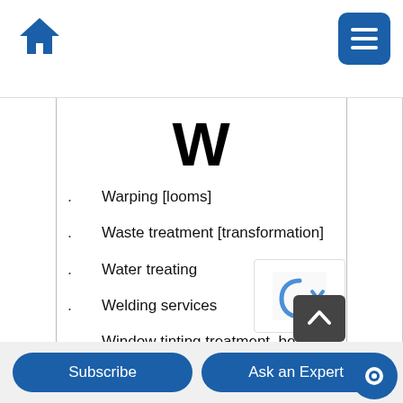W — navigation page with home icon and menu button
W
Warping [looms]
Waste treatment [transformation]
Water treating
Welding services
Window tinting treatment, being surface coating
Woodworking
Subscribe   Ask an Expert